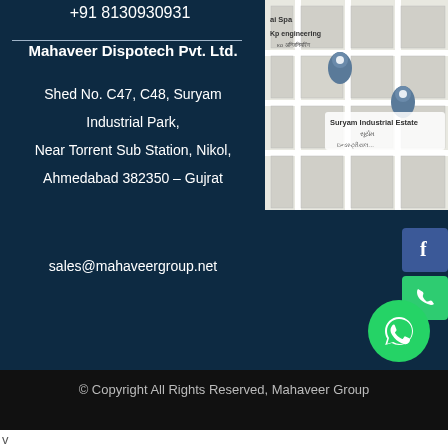+91 8130930931
Mahaveer Dispotech Pvt. Ltd.
Shed No. C47, C48, Suryam Industrial Park,
Near Torrent Sub Station, Nikol,
Ahmedabad 382350 – Gujrat
sales@mahaveergroup.net
[Figure (map): Google Maps screenshot showing Suryam Industrial Estate location with map pins for Kp engineering and another location, with Gujarati text labels]
[Figure (other): Facebook social media button (blue square with 'f')]
[Figure (other): Phone/call button (green square with phone icon)]
[Figure (other): WhatsApp floating button (green circle with WhatsApp logo)]
© Copyright All Rights Reserved, Mahaveer Group
v